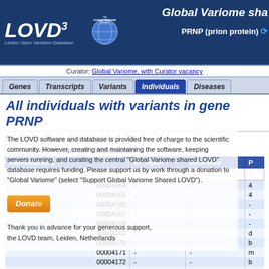LOVD3 — Global Variome shared LOVD — PRNP (prion protein)
Curator: Global Variome, with Curator vacancy
Genes | Transcripts | Variants | Individuals | Diseases
All individuals with variants in gene PRNP
82 entries on 1 page. Showing entries 1 - 82.
100 per page   Legend   How to query
| Individual ID | ID_report | Reference | P |
| --- | --- | --- | --- |
| 00004164 | - | - | 4 |
| 00004165 | - | - | 4 |
| 00004166 | - | - | - |
| 00004167 | - | - | - |
| 00004168 | - | - | - |
| 00004169 | - | - | d |
| 00004170 | - | - | b |
| 00004171 | - | - | m |
| 00004172 | - | - | b |
| 00004173 | - | - | 5 |
| 00004174 | - | - | - |
| 00004175 | - | - | - |
| 00004176 | - | - | - |
| 00004177 | - | - | - |
| 00004178 | - | - | la |
| 00004179 | - | - | la |
| 00004180 | - | - | - |
| 00004181 | - | - | a |
The LOVD software and database is provided free of charge to the scientific community. However, creating and maintaining the software, keeping servers running, and curating the central "Global Variome shared LOVD" database requires funding. Please support us by work through a donation to "Global Variome" (select "Support Global Variome Shared LOVD"). Thank you in advance for your generous support, the LOVD team, Leiden, Netherlands